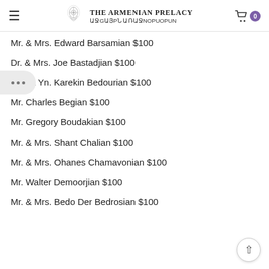THE ARMENIAN PRELACY ԱՋGԱՅPՆ ԱՌԱՋNOPUOPUN
Mr. & Mrs. Edward Barsamian $100
Dr. & Mrs. Joe Bastadjian $100
Fr. & Yn. Karekin Bedourian $100
Mr. Charles Begian $100
Mr. Gregory Boudakian $100
Mr. & Mrs. Shant Chalian $100
Mr. & Mrs. Ohanes Chamavonian $100
Mr. Walter Demoorjian $100
Mr. & Mrs. Bedo Der Bedrosian $100